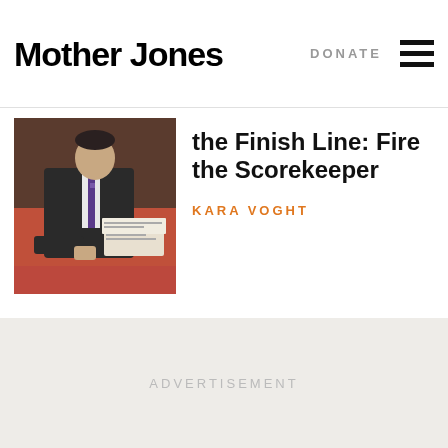Mother Jones | DONATE
[Figure (photo): A man in a suit and tie sitting at a red table during what appears to be a congressional or official hearing.]
the Finish Line: Fire the Scorekeeper
KARA VOGHT
ADVERTISEMENT